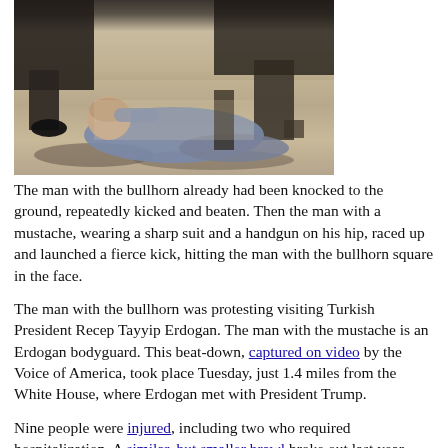[Figure (photo): A man lying on the ground covering his face while being attacked by other figures standing over him, outdoors on a concrete sidewalk]
The man with the bullhorn already had been knocked to the ground, repeatedly kicked and beaten. Then the man with a mustache, wearing a sharp suit and a handgun on his hip, raced up and launched a fierce kick, hitting the man with the bullhorn square in the face.
The man with the bullhorn was protesting visiting Turkish President Recep Tayyip Erdogan. The man with the mustache is an Erdogan bodyguard. This beat-down, captured on video by the Voice of America, took place Tuesday, just 1.4 miles from the White House, where Erdogan met with President Trump.
Nine people were injured, including two who required hospitalization. A similar, but smaller brawl broke out last year when Erdogan was greeted by protesters outside a speech at the